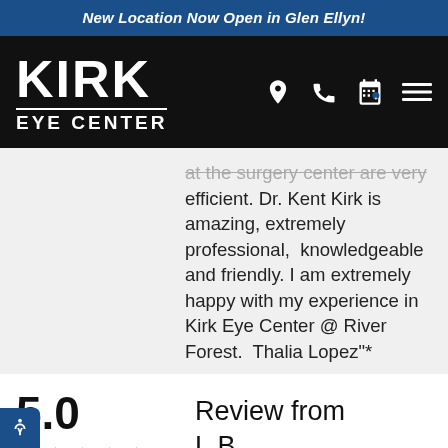New Location Now Open in Glen Ellyn!
[Figure (logo): Kirk Eye Center logo on black background with navigation icons (location pin, phone, calendar, hamburger menu)]
at the surgery center are very efficient. Dr. Kent Kirk is amazing, extremely professional, knowledgeable and friendly. I am extremely happy with my experience in Kirk Eye Center @ River Forest. Thalia Lopez"*
5.0 ★★★★★ Review from L.B.